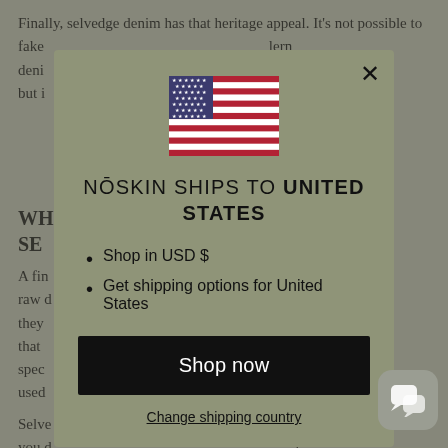Finally, selvedge denim has that heritage appeal. It's not possible to fake [obscured by modal] lern deni[obscured] ding, but i[obscured]
WH[obscured] N SE[obscured]
A fin[obscured] and raw d[obscured] bly, they [obscured] n that [obscured] spec[obscured] ess used[obscured]
Selve[obscured] ugh you d[obscured] r those[obscured] can b[obscured] s not mean selvedge denim, and selvedge denim does not
[Figure (illustration): US flag icon displayed centered above modal title]
NŌSKIN SHIPS TO UNITED STATES
Shop in USD $
Get shipping options for United States
Shop now
Change shipping country